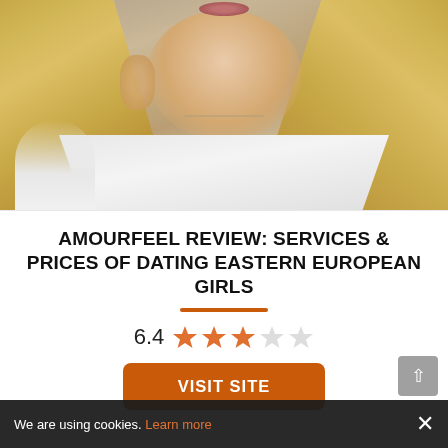[Figure (photo): Young blonde woman in white top, photographed from chest up, holding hand near face]
AMOURFEEL REVIEW: SERVICES & PRICES OF DATING EASTERN EUROPEAN GIRLS
6.4 ★★★☆☆
VISIT SITE
We are using cookies. Learn more ×